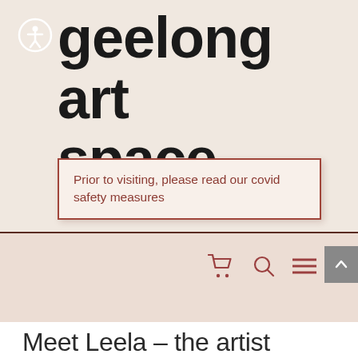geelong art space
Prior to visiting, please read our covid safety measures
[Figure (screenshot): Navigation bar with shopping cart icon, search icon, and hamburger menu icon, plus a scroll-to-top button with upward chevron]
Meet Leela – the artist